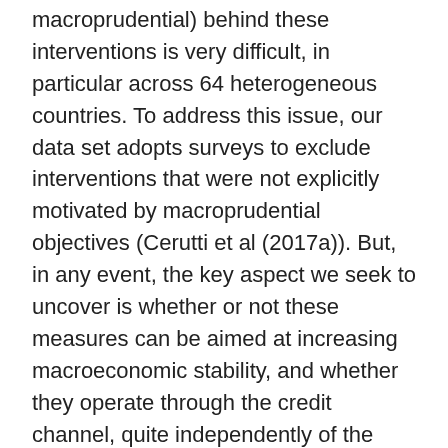macroprudential) behind these interventions is very difficult, in particular across 64 heterogeneous countries. To address this issue, our data set adopts surveys to exclude interventions that were not explicitly motivated by macroprudential objectives (Cerutti et al (2017a)). But, in any event, the key aspect we seek to uncover is whether or not these measures can be aimed at increasing macroeconomic stability, and whether they operate through the credit channel, quite independently of the specific label.
An important limitation of the available data set is that it does not quantify the size of the adjustments and refers only to their frequency.10 Mindful of this limitation, we try to build our inference in two steps. First, we use the observed frequency of macroprudential decisions as an explanatory variable